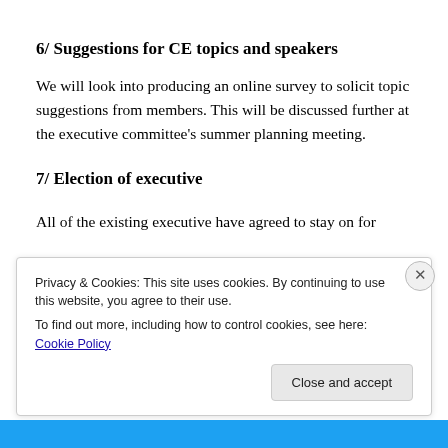6/ Suggestions for CE topics and speakers
We will look into producing an online survey to solicit topic suggestions from members. This will be discussed further at the executive committee's summer planning meeting.
7/ Election of executive
All of the existing executive have agreed to stay on for
Privacy & Cookies: This site uses cookies. By continuing to use this website, you agree to their use.
To find out more, including how to control cookies, see here: Cookie Policy
Close and accept